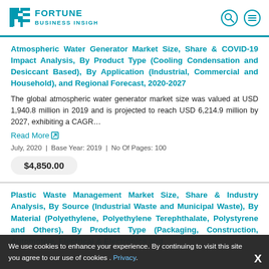Fortune Business Insights
Atmospheric Water Generator Market Size, Share & COVID-19 Impact Analysis, By Product Type (Cooling Condensation and Desiccant Based), By Application (Industrial, Commercial and Household), and Regional Forecast, 2020-2027
The global atmospheric water generator market size was valued at USD 1,940.8 million in 2019 and is projected to reach USD 6,214.9 million by 2027, exhibiting a CAGR...
Read More
July, 2020  |  Base Year: 2019  |  No Of Pages: 100
$4,850.00
Plastic Waste Management Market Size, Share & Industry Analysis, By Source (Industrial Waste and Municipal Waste), By Material (Polyethylene, Polyethylene Terephthalate, Polystyrene and Others), By Product Type (Packaging, Construction, Automotive, Electrical & Electronics and
We use cookies to enhance your experience. By continuing to visit this site you agree to our use of cookies . Privacy